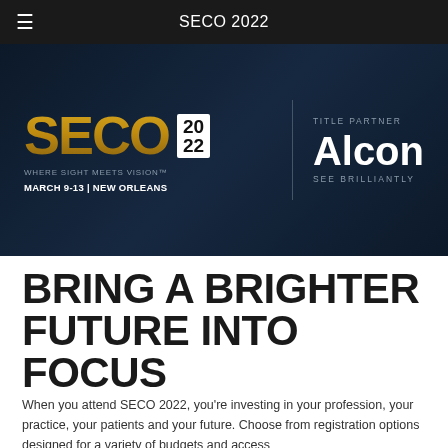SECO 2022
[Figure (logo): SECO 2022 conference banner with gold SECO logo, '20 22' year in white box, tagline 'WHERE SIGHT MEETS VISION™', date 'MARCH 9-13 | NEW ORLEANS', vertical divider, and Title Partner Alcon with tagline 'SEE BRILLIANTLY']
BRING A BRIGHTER FUTURE INTO FOCUS
When you attend SECO 2022, you're investing in your profession, your practice, your patients and your future. Choose from registration options designed for a variety of budgets and access